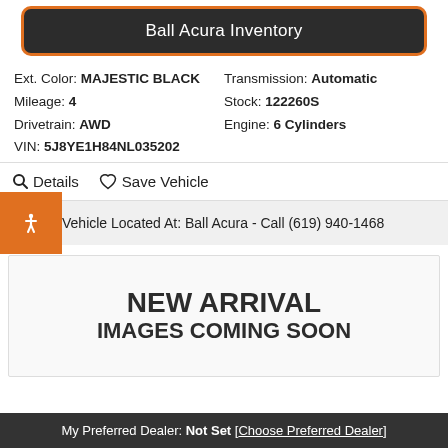Ball Acura Inventory
Ext. Color: MAJESTIC BLACK	Transmission: Automatic
Mileage: 4	Stock: 122260S
Drivetrain: AWD	Engine: 6 Cylinders
VIN: 5J8YE1H84NL035202
🔍 Details  ♡ Save Vehicle
Vehicle Located At: Ball Acura - Call (619) 940-1468
[Figure (infographic): NEW ARRIVAL IMAGES COMING SOON placeholder image]
My Preferred Dealer: Not Set [Choose Preferred Dealer]